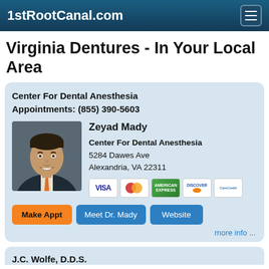1stRootCanal.com
Virginia Dentures - In Your Local Area
Center For Dental Anesthesia
Appointments: (855) 390-5603
[Figure (photo): Headshot of Dr. Zeyad Mady in a dark suit with orange tie, smiling]
Zeyad Mady
Center For Dental Anesthesia
5284 Dawes Ave
Alexandria, VA 22311
[Figure (other): Payment method icons: Visa, MasterCard, American Express, Discover, CareCredit]
Make Appt   Meet Dr. Mady   Website
more info ...
J.C. Wolfe, D.D.S.